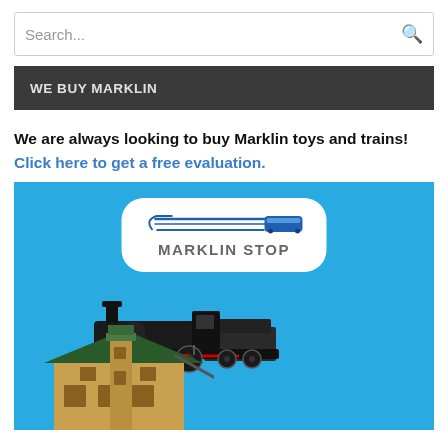Search...
WE BUY MARKLIN
We are always looking to buy Marklin toys and trains! Click here to get a free evaluation.
[Figure (illustration): Marklin Stop logo on blue background with a vintage steam locomotive and a toy train station building.]